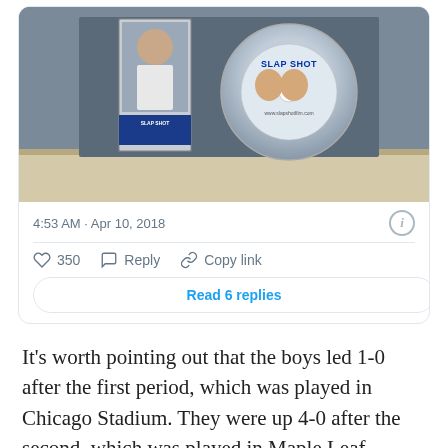[Figure (screenshot): Tweet card showing a photo of a 'Slap Shot' DVD disc next to a DVD case on a shelf surface, with timestamp 4:53 AM · Apr 10, 2018, interaction buttons (350 likes, Reply, Copy link), and a 'Read 6 replies' button.]
It's worth pointing out that the boys led 1-0 after the first period, which was played in Chicago Stadium. They were up 4-0 after the second, which was played in Maple Leaf Gardens. The teams played the final period in